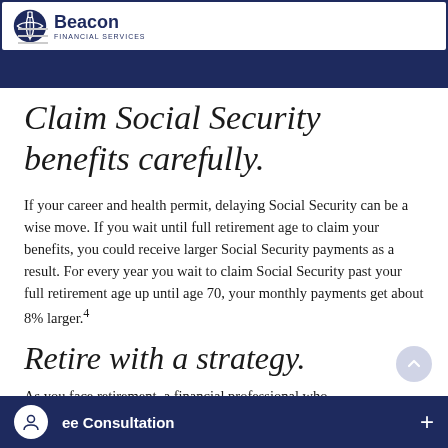Beacon Financial Services
Claim Social Security benefits carefully.
If your career and health permit, delaying Social Security can be a wise move. If you wait until full retirement age to claim your benefits, you could receive larger Social Security payments as a result. For every year you wait to claim Social Security past your full retirement age up until age 70, your monthly payments get about 8% larger.⁴
Retire with a strategy.
As you face retirement, a financial professional who understands your situation can help you devise...
ee Consultation